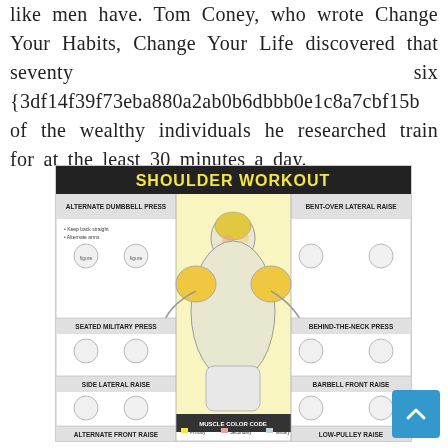like men have. Tom Coney, who wrote Change Your Habits, Change Your Life discovered that seventy six {3df14f39f73eba880a2ab0b6dbbb0e1c8a7cbf15b of the wealthy individuals he researched train for at the least 30 minutes a day.
[Figure (illustration): Shoulder Workout fitness poster showing a muscular figure in the center with labeled shoulder exercises: Alternate Dumbbell Press, Bent-Over Lateral Raise, Seated Military Press, Behind-The-Neck Press, Side Lateral Raise, Barbell Front Raise, Alternate Front Raise, Low-Pulley Raise. Includes muscle color code legend at the bottom.]